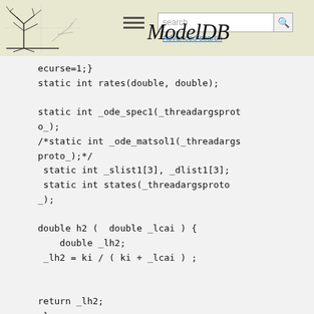ModelDB — Advanced search
ecurse=1;}
static int rates(double, double);

static int _ode_spec1(_threadargsproto_);
/*static int _ode_matsol1(_threadargsproto_);*/
 static int _slist1[3], _dlist1[3];
 static int states(_threadargsproto_);

double h2 (  double _lcai ) {
    double _lh2;
 _lh2 = ki / ( ki + _lcai ) ;


return _lh2;
 }

static void _hoc_h2(void) {
  double _r;